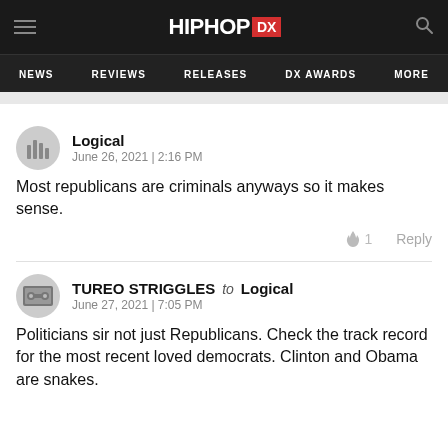HIPHOP DX — NEWS | REVIEWS | RELEASES | DX AWARDS | MORE
Logical
June 26, 2021 | 2:16 PM

Most republicans are criminals anyways so it makes sense.

🔥 1   Reply
TUREO STRIGGLES to Logical
June 27, 2021 | 7:05 PM

Politicians sir not just Republicans. Check the track record for the most recent loved democrats. Clinton and Obama are snakes.